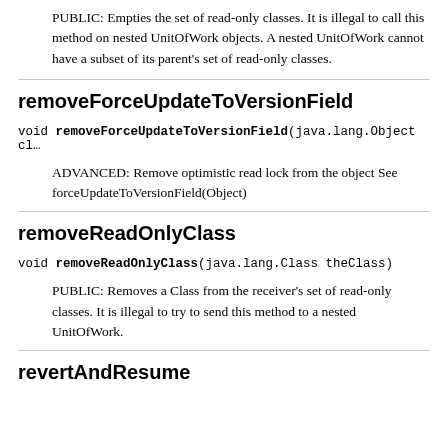PUBLIC: Empties the set of read-only classes. It is illegal to call this method on nested UnitOfWork objects. A nested UnitOfWork cannot have a subset of its parent's set of read-only classes.
removeForceUpdateToVersionField
void removeForceUpdateToVersionField(java.lang.Object cl…
ADVANCED: Remove optimistic read lock from the object See forceUpdateToVersionField(Object)
removeReadOnlyClass
void removeReadOnlyClass(java.lang.Class theClass)
PUBLIC: Removes a Class from the receiver's set of read-only classes. It is illegal to try to send this method to a nested UnitOfWork.
revertAndResume